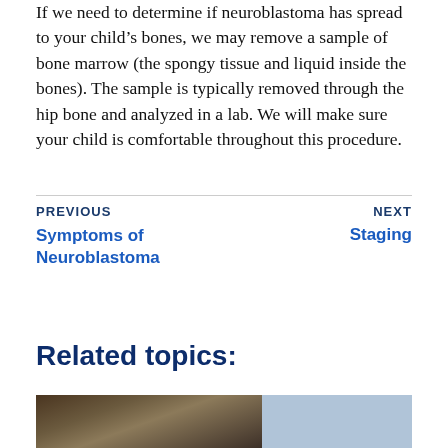If we need to determine if neuroblastoma has spread to your child's bones, we may remove a sample of bone marrow (the spongy tissue and liquid inside the bones). The sample is typically removed through the hip bone and analyzed in a lab. We will make sure your child is comfortable throughout this procedure.
PREVIOUS | Symptoms of Neuroblastoma    NEXT | Staging
Related topics:
[Figure (photo): Photo of people outdoors, possibly at a community or family event]